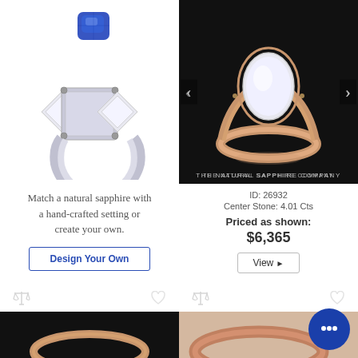[Figure (photo): Blue sapphire gemstone floating above a three-stone diamond ring setting with silver band, on white background]
Match a natural sapphire with a hand-crafted setting or create your own.
Design Your Own
[Figure (photo): Rose gold ring with large oval white diamond on black background with The Natural Sapphire Company watermark and navigation arrows]
ID: 26932
Center Stone: 4.01 Cts
Priced as shown:
$6,365
View ▶
[Figure (photo): Rose gold ring with gemstone on black background, partial view at bottom left]
[Figure (photo): Rose gold wide band ring on light background with chat bubble icon overlay, partial view at bottom right]